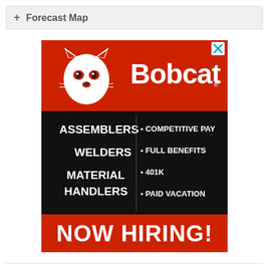+ Forecast Map
[Figure (illustration): Bobcat company advertisement. Red and black banner ad showing the Bobcat logo with a wildcat mascot on red background at top, black middle section listing job openings: ASSEMBLERS, WELDERS, MATERIAL HANDLERS on the left and COMPETITIVE PAY, FULL BENEFITS, 401K, PAID VACATION on the right, and a red bottom section reading NOW HIRING! in large white text. An X close button appears in the top right corner.]